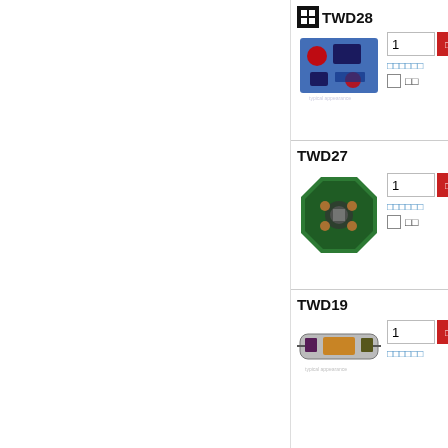[Figure (screenshot): Product listing page showing three electronic circuit board products: TWD28, TWD27, TWD19, each with a product image, quantity input field, red add-to-cart button, link text, and checkbox option]
TWD28
[Figure (photo): Blue electronic circuit board with components including capacitors and inductors]
1
□□□□□□
□□
TWD27
[Figure (photo): Octagonal green PCB circuit board]
1
□□□□□□
□□
TWD19
[Figure (photo): Small cylindrical electronic component/module on PCB]
1
□□□□□□